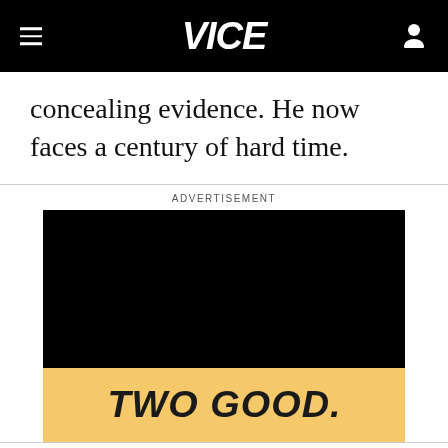VICE
concealing evidence. He now faces a century of hard time.
ADVERTISEMENT
[Figure (logo): TWO GOOD advertisement with black video area on top and yellow background with TWO GOOD. logo text on bottom]